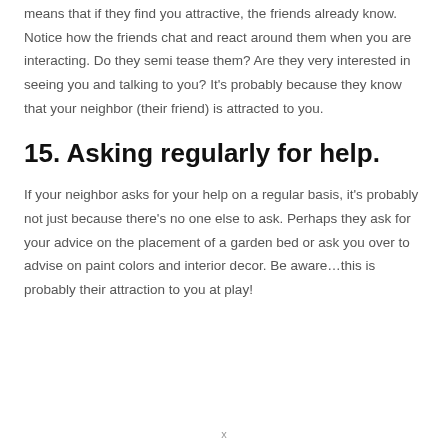means that if they find you attractive, the friends already know. Notice how the friends chat and react around them when you are interacting. Do they semi tease them? Are they very interested in seeing you and talking to you? It's probably because they know that your neighbor (their friend) is attracted to you.
15. Asking regularly for help.
If your neighbor asks for your help on a regular basis, it's probably not just because there's no one else to ask. Perhaps they ask for your advice on the placement of a garden bed or ask you over to advise on paint colors and interior decor. Be aware…this is probably their attraction to you at play!
x